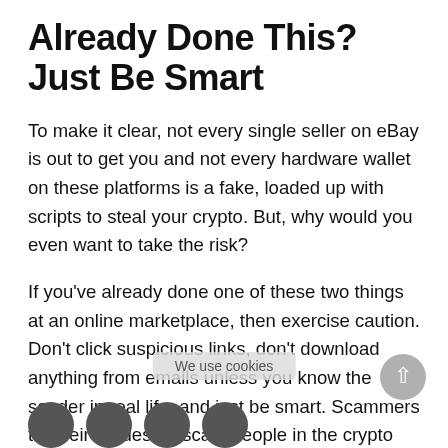Already Done This? Just Be Smart
To make it clear, not every single seller on eBay is out to get you and not every hardware wallet on these platforms is a fake, loaded up with scripts to steal your crypto. But, why would you even want to take the risk?
If you've already done one of these two things at an online marketplace, then exercise caution. Don't click suspicious links, don't download anything from emails unless you know the sender in real life, and just be smart. Scammers try their hardest to scam people in the crypto world, and now you're a target. Be safe out there and don't risk your crypto!